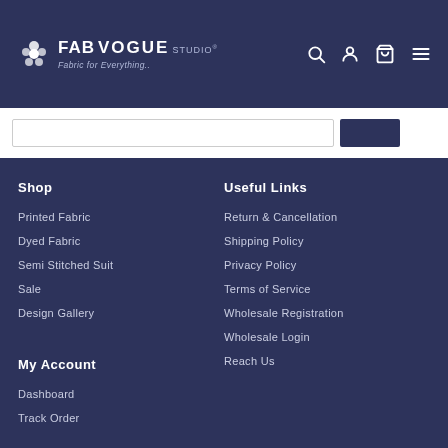FAB VOGUE STUDIO — Fabric for Everything..
Shop
Printed Fabric
Dyed Fabric
Semi Stitched Suit
Sale
Design Gallery
Useful Links
Return & Cancellation
Shipping Policy
Privacy Policy
Terms of Service
Wholesale Registration
Wholesale Login
Reach Us
My Account
Dashboard
Track Order